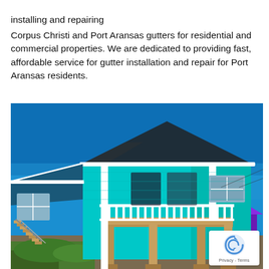installing and repairing Corpus Christi and Port Aransas gutters for residential and commercial properties. We are dedicated to providing fast, affordable service for gutter installation and repair for Port Aransas residents.
[Figure (photo): Elevated beach-style house with turquoise/teal siding, white gutters along roofline, white railing deck, wooden stilts/posts, exterior staircase on left side, blue sky background. A purple-roofed structure visible in background right.]